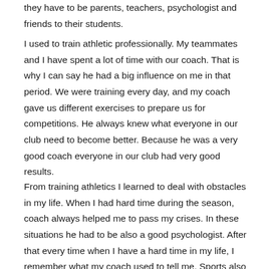they have to be parents, teachers, psychologist and friends to their students.
I used to train athletic professionally. My teammates and I have spent a lot of time with our coach. That is why I can say he had a big influence on me in that period. We were training every day, and my coach gave us different exercises to prepare us for competitions. He always knew what everyone in our club need to become better. Because he was a very good coach everyone in our club had very good results.
From training athletics I learned to deal with obstacles in my life. When I had hard time during the season, coach always helped me to pass my crises. In these situations he had to be also a good psychologist. After that every time when I have a hard time in my life, I remember what my coach used to tell me. Sports also help me to be detriment and a hard worker. Which help me to finish my university and to be good at my